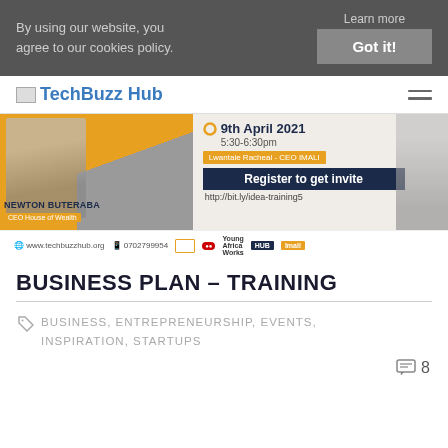By using our website, you agree to our cookies policy.
Learn more
Got it!
TechBuzz Hub
[Figure (infographic): Event banner for Business Plan Training webinar on 9th April 2021, 5:30-6:30pm. Speakers: Lwantale Racheal - CEO IMALI, Newton Buteraba - CEO House of Wealth. Register at http://bit.ly/idea-training5. Logos: www.techbuzzhub.org, 0702799954, Young Africa Works, Imali.]
BUSINESS PLAN – TRAINING
BUSINESS, ENTREPRENEURSHIP, EVENTS, INSPIRATION, STARTUPS
8